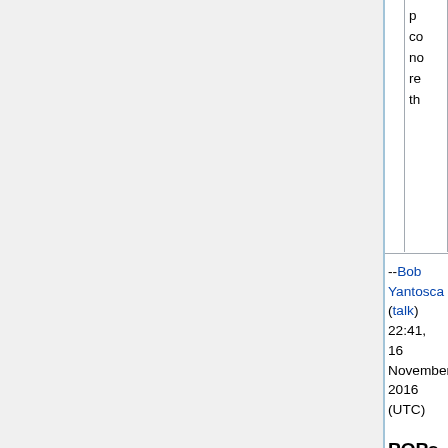|  |  | p co no re th |
--Bob Yantosca (talk) 22:41, 16 November 2016 (UTC)
POPs simulation menu
This menu controls options for the persistent organic pollutants (POPs) simulation only. This is an optional menu and may be omitted from input.geos if you are not concerned with this simulation. For more information, please see our POPs simulation wiki page.
Line numbers are not part of the input.geos file, but have been included for reference.